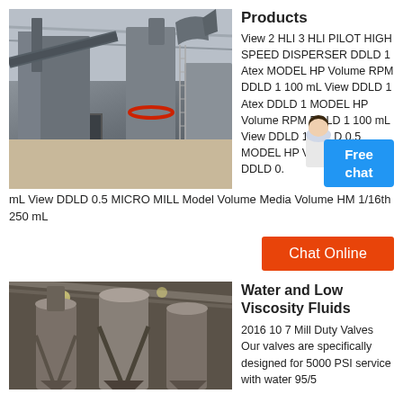[Figure (photo): Industrial machinery facility with large equipment and three workers standing in front]
Products
View 2 HLI 3 HLI PILOT HIGH SPEED DISPERSER DDLD 1 Atex MODEL HP Volume RPM DDLD 1 100 mL View DDLD 1 Atex DDLD 1 MODEL HP Volume RPM DDLD 1 100 mL View DDLD 1 DDLD 0.5 MODEL HP Volume RPM DDLD 0.5 mL View DDLD 0.5 MICRO MILL Model Volume Media Volume HM 1/16th 250 mL
[Figure (infographic): Free chat button with avatar graphic]
[Figure (other): Chat Online orange button]
[Figure (photo): Industrial facility interior with large cylindrical equipment and support structures]
Water and Low Viscosity Fluids
2016 10 7 Mill Duty Valves Our valves are specifically designed for 5000 PSI service with water 95/5